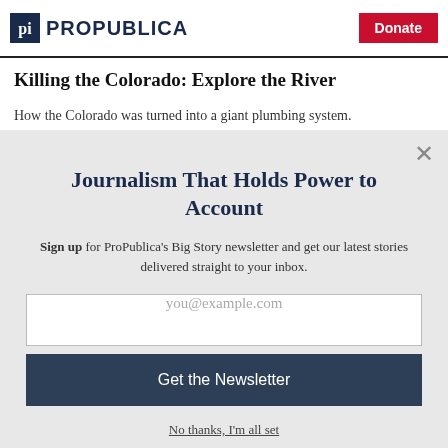ProPublica | Donate
Killing the Colorado: Explore the River
How the Colorado was turned into a giant plumbing system.
Journalism That Holds Power to Account
Sign up for ProPublica's Big Story newsletter and get our latest stories delivered straight to your inbox.
you@example.com
Get the Newsletter
No thanks, I'm all set
This site is protected by reCAPTCHA and the Google Privacy Policy and Terms of Service apply.